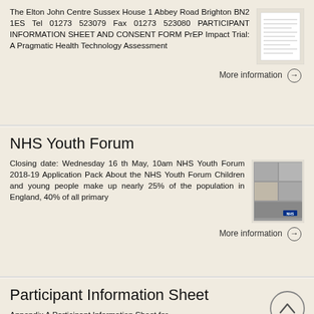The Elton John Centre Sussex House 1 Abbey Road Brighton BN2 1ES Tel 01273 523079 Fax 01273 523080 PARTICIPANT INFORMATION SHEET AND CONSENT FORM PrEP Impact Trial: A Pragmatic Health Technology Assessment
More information →
NHS Youth Forum
Closing date: Wednesday 16 th May, 10am NHS Youth Forum 2018-19 Application Pack About the NHS Youth Forum Children and young people make up nearly 25% of the population in England, 40% of all primary
More information →
Participant Information Sheet
Appendix A Participant Information Sheet for